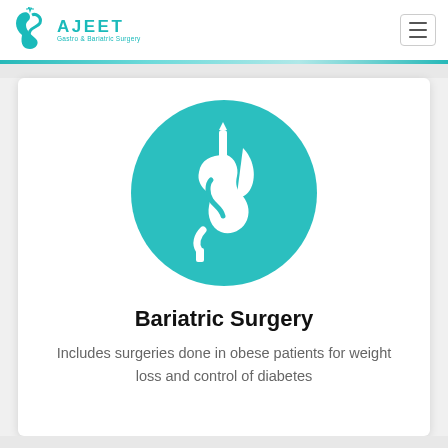AJEET Gastro & Bariatric Surgery
[Figure (logo): Ajeet Gastro & Bariatric Surgery logo with teal stomach icon and text]
[Figure (illustration): Teal circle with white bariatric/stomach surgery icon showing a stomach with surgical instruments]
Bariatric Surgery
Includes surgeries done in obese patients for weight loss and control of diabetes